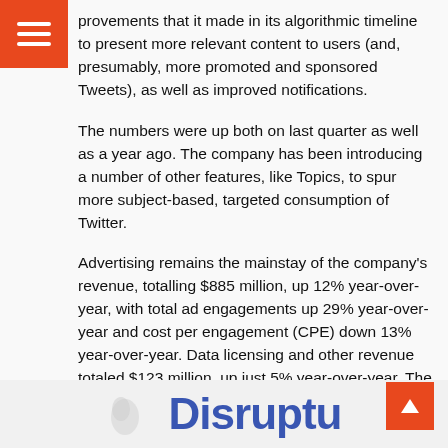provements that it made in its algorithmic timeline to present more relevant content to users (and, presumably, more promoted and sponsored Tweets), as well as improved notifications.
The numbers were up both on last quarter as well as a year ago. The company has been introducing a number of other features, like Topics, to spur more subject-based, targeted consumption of Twitter.
Advertising remains the mainstay of the company’s revenue, totalling $885 million, up 12% year-over-year, with total ad engagements up 29% year-over-year and cost per engagement (CPE) down 13% year-over-year. Data licensing and other revenue totaled $123 million, up just 5% year-over-year. The US remains Twitter’s largest market in terms of revenue, if not audience: it generated $591 million, an increase of 17% year-over-year, but accounts for just 31 million mDAUs.
More to come.
[Figure (logo): Partial logo at the bottom of the page, partially cropped, blue text on light background]